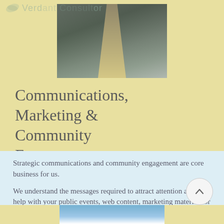[Figure (photo): Aerial or perspective photo of railway tracks or similar infrastructure viewed from above, with people visible at the top]
Communications, Marketing & Community Engagement
Strategic communications and community engagement are core business for us.
We understand the messages required to attract attention and can help with your public events, web content, marketing materials or media engagement.
[Figure (photo): Photo showing blue sky with clouds, partially visible at bottom of page]